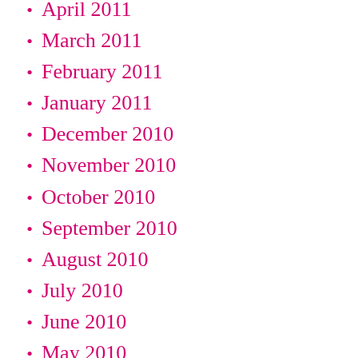April 2011
March 2011
February 2011
January 2011
December 2010
November 2010
October 2010
September 2010
August 2010
July 2010
June 2010
May 2010
April 2010
March 2010
February 2010
January 2010
December 2009